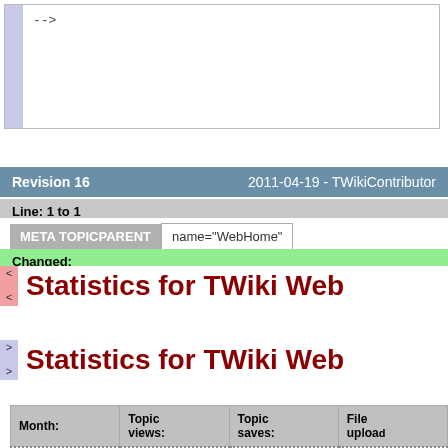[Figure (screenshot): Top code box showing '-->' comment close tag in a code block with a light purple left gutter bar]
Revision 16    2011-04-19 - TWikiContributor
Line: 1 to 1
META TOPICPARENT    name="WebHome"
Changed:
Statistics for TWiki Web
Statistics for TWiki Web
| Month: | Topic views: | Topic saves: | File upload |
| --- | --- | --- | --- |
| <--statDate--> | <--statViews--> | <--statSaves--> | <--stat |